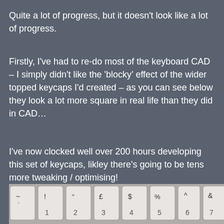Quite a lot of progress, but it doesn't look like a lot of progress.
Firstly, I've had to re-do most of the keyboard CAD – I simply didn't like the 'blocky' effect of the wider topped keycaps I'd created – as you can see below they look a lot more square in real life than they did in CAD…
I've now clocked well over 200 hours developing this set of keycaps, likley there's going to be tens more tweaking / optimising!
[Figure (photo): Close-up photograph of white keyboard keycaps showing the number row: ~, 1, 2, 3, 4, 5, 6, 7 with symbols above each number (!, ", £, $, %, ^, &)]